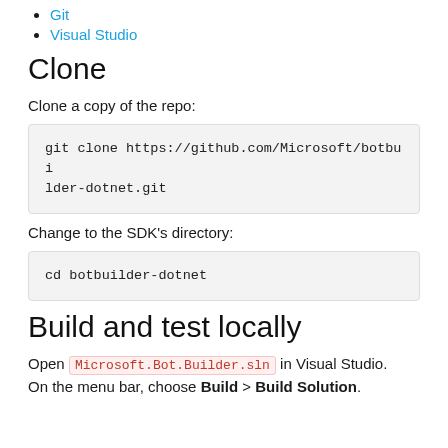Git
Visual Studio
Clone
Clone a copy of the repo:
git clone https://github.com/Microsoft/botbuilder-dotnet.git
Change to the SDK's directory:
cd botbuilder-dotnet
Build and test locally
Open Microsoft.Bot.Builder.sln in Visual Studio. On the menu bar, choose Build > Build Solution.